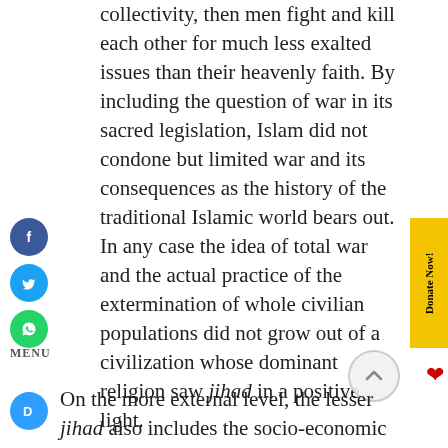collectivity, then men fight and kill each other for much less exalted issues than their heavenly faith. By including the question of war in its sacred legislation, Islam did not condone but limited war and its consequences as the history of the traditional Islamic world bears out. In any case the idea of total war and the actual practice of the extermination of whole civilian populations did not grow out of a civilization whose dominant religion saw jihad in a positive light.
On the more external level, the lesser jihad also includes the socio-economic domain.